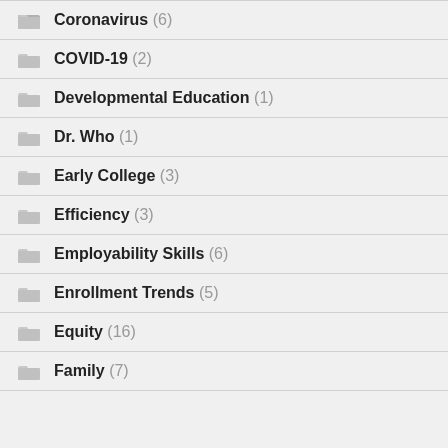Coronavirus (6)
COVID-19 (2)
Developmental Education (1)
Dr. Who (1)
Early College (3)
Efficiency (3)
Employability Skills (6)
Enrollment Trends (5)
Equity (16)
Family (7)